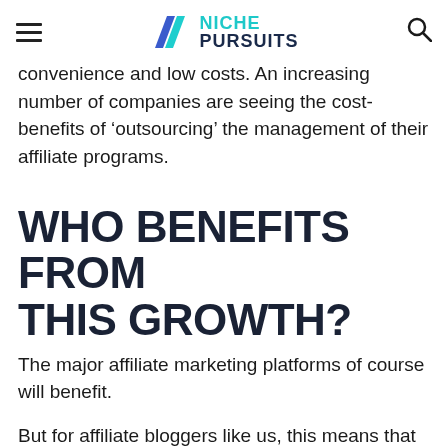NICHE PURSUITS
convenience and low costs. An increasing number of companies are seeing the cost-benefits of ‘outsourcing’ the management of their affiliate programs.
WHO BENEFITS FROM THIS GROWTH?
The major affiliate marketing platforms of course will benefit.
But for affiliate bloggers like us, this means that more companies will be more readily available to